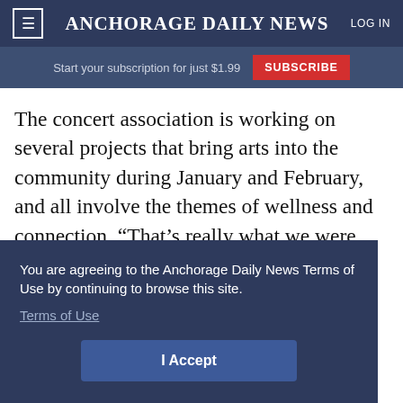≡ ANCHORAGE DAILY NEWS  LOG IN
Start your subscription for just $1.99  SUBSCRIBE
The concert association is working on several projects that bring arts into the community during January and February, and all involve the themes of wellness and connection. “That’s really what we were looking for when it came to these winter
You are agreeing to the Anchorage Daily News Terms of Use by continuing to browse this site. Terms of Use
I Accept